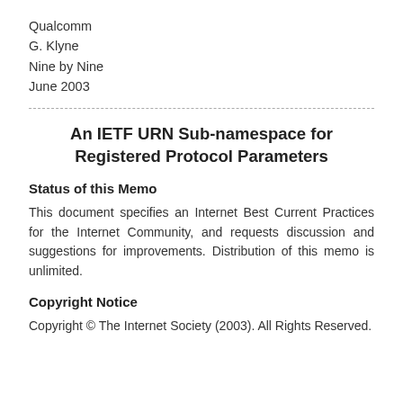Qualcomm
G. Klyne
Nine by Nine
June 2003
An IETF URN Sub-namespace for Registered Protocol Parameters
Status of this Memo
This document specifies an Internet Best Current Practices for the Internet Community, and requests discussion and suggestions for improvements. Distribution of this memo is unlimited.
Copyright Notice
Copyright © The Internet Society (2003). All Rights Reserved.